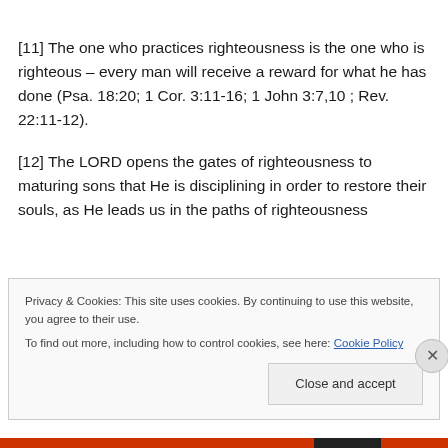[11] The one who practices righteousness is the one who is righteous – every man will receive a reward for what he has done (Psa. 18:20; 1 Cor. 3:11-16; 1 John 3:7,10 ; Rev. 22:11-12).
[12] The LORD opens the gates of righteousness to maturing sons that He is disciplining in order to restore their souls, as He leads us in the paths of righteousness
Privacy & Cookies: This site uses cookies. By continuing to use this website, you agree to their use.
To find out more, including how to control cookies, see here: Cookie Policy
Close and accept